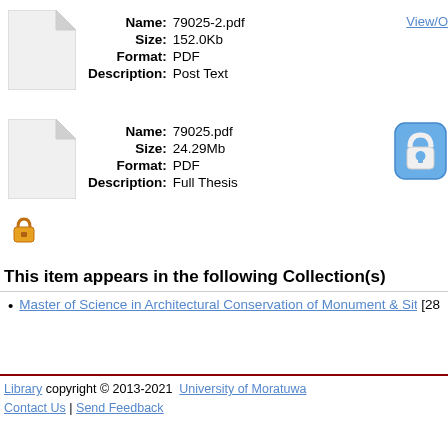[Figure (illustration): Generic PDF file icon (white page with folded corner)]
Name: 79025-2.pdf
Size: 152.0Kb
Format: PDF
Description: Post Text
View/O
[Figure (illustration): Generic PDF file icon (white page with folded corner)]
Name: 79025.pdf
Size: 24.29Mb
Format: PDF
Description: Full Thesis
[Figure (illustration): Blue lock icon (large)]
[Figure (illustration): Small gold/yellow padlock icon]
This item appears in the following Collection(s)
Master of Science in Architectural Conservation of Monument & Sites [28
Library copyright © 2013-2021  University of Moratuwa
Contact Us | Send Feedback